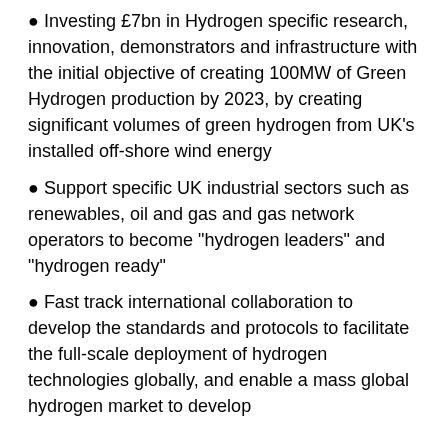Investing £7bn in Hydrogen specific research, innovation, demonstrators and infrastructure with the initial objective of creating 100MW of Green Hydrogen production by 2023, by creating significant volumes of green hydrogen from UK's installed off-shore wind energy
Support specific UK industrial sectors such as renewables, oil and gas and gas network operators to become "hydrogen leaders" and "hydrogen ready"
Fast track international collaboration to develop the standards and protocols to facilitate the full-scale deployment of hydrogen technologies globally, and enable a mass global hydrogen market to develop